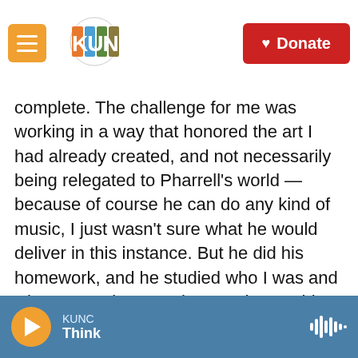KUNC - Donate
complete. The challenge for me was working in a way that honored the art I had already created, and not necessarily being relegated to Pharrell's world — because of course he can do any kind of music, I just wasn't sure what he would deliver in this instance. But he did his homework, and he studied who I was and what I was about, and created something that I think fit perfectly. The concept I'm trying to portray is that no matter what happens in your life, if you're starving, if you're homeless, human compassion is the answer to these problems. We were able to do something that was, I think, analogous to my heroes — Michael Jackson
KUNC Think